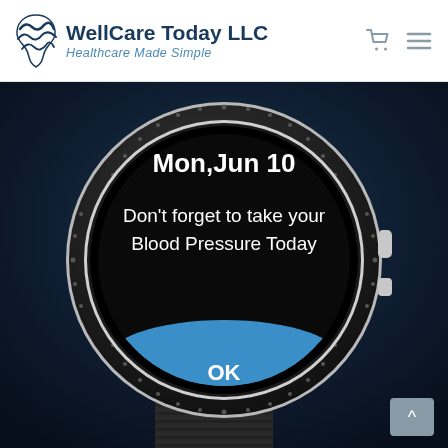[Figure (logo): WellCare Today LLC logo with stylized wave/person icon in dark blue]
WellCare Today LLC
Healthcare Made Simple
[Figure (photo): Smartwatch (Samsung Galaxy Watch style) on dark navy background displaying a reminder notification reading 'Mon,Jun 10 Don't forget to take your Blood Pressure Today' with a blue OK button at the bottom of the watch screen]